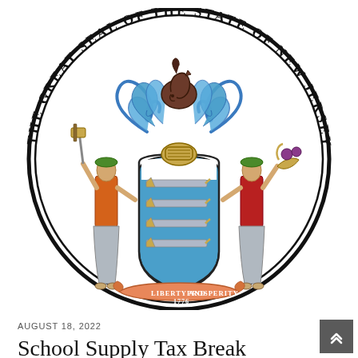[Figure (logo): The Great Seal of the State of New Jersey — circular seal with two female figures flanking a shield with plows, a horse's head above, ornate blue scrollwork, and a banner reading 'LIBERTY AND PROSPERITY 1776']
AUGUST 18, 2022
School Supply Tax Break